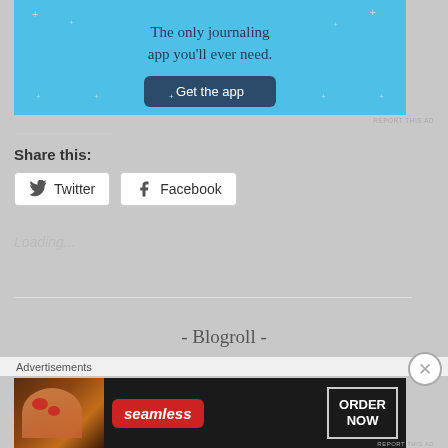[Figure (other): Blue advertisement banner for a journaling app with text 'The only journaling app you'll ever need.' and a dark blue 'Get the app' button]
REPORT THIS AD
Share this:
[Figure (other): Twitter share button with bird icon]
[Figure (other): Facebook share button with Facebook icon]
Loading...
- Blogroll -
Advertisements
[Figure (other): Seamless food ordering advertisement with pizza image, Seamless logo, and ORDER NOW button]